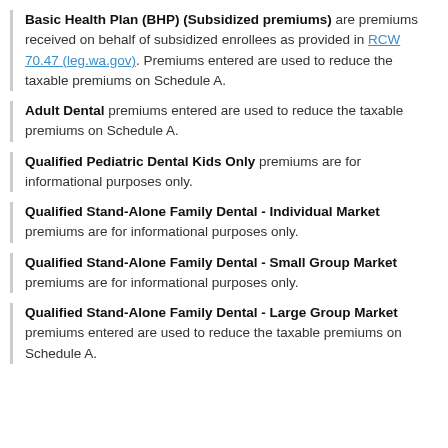Basic Health Plan (BHP) (Subsidized premiums) are premiums received on behalf of subsidized enrollees as provided in RCW 70.47 (leg.wa.gov). Premiums entered are used to reduce the taxable premiums on Schedule A.
Adult Dental premiums entered are used to reduce the taxable premiums on Schedule A.
Qualified Pediatric Dental Kids Only premiums are for informational purposes only.
Qualified Stand-Alone Family Dental - Individual Market premiums are for informational purposes only.
Qualified Stand-Alone Family Dental - Small Group Market premiums are for informational purposes only.
Qualified Stand-Alone Family Dental - Large Group Market premiums entered are used to reduce the taxable premiums on Schedule A.